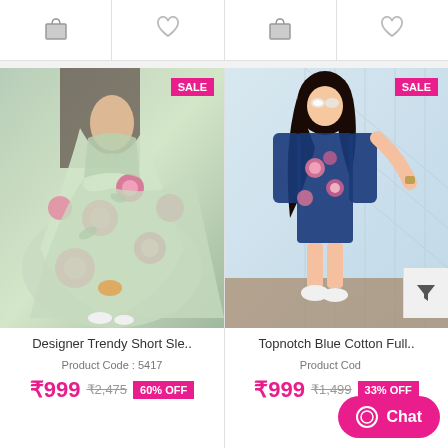[Figure (screenshot): Top strip with shopping bag icon and heart/wishlist icon for two product placeholders]
[Figure (photo): Woman wearing Designer Trendy Short Sleeve floral maxi dress in green with pink flowers, with SALE badge]
Designer Trendy Short Sle..
Product Code : 5417
₹999  ₹2,475  60% OFF
[Figure (photo): Woman wearing Topnotch Blue Cotton Full sleeve floral dress, with SALE badge]
Topnotch Blue Cotton Full..
Product Code : (partially hidden by Chat button)
₹999  ₹1,499  33% OFF